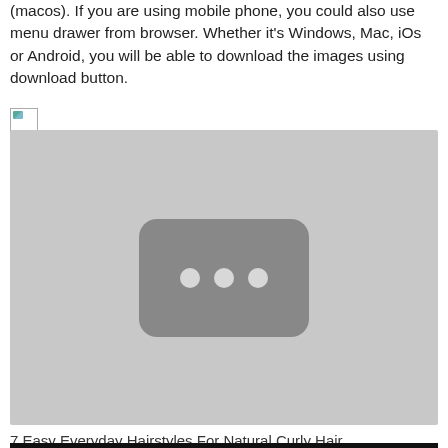(macos). If you are using mobile phone, you could also use menu drawer from browser. Whether it's Windows, Mac, iOs or Android, you will be able to download the images using download button.
[Figure (screenshot): Broken image icon (small, top-left)]
[Figure (screenshot): Thumbnail placeholder with gray background and a dark rounded rectangle containing three light dots in the center, resembling a video loading placeholder]
7 Easy Everyday Hairstyles For Natural Curly Hair
[Figure (photo): Bottom strip of a dark/black image, partially visible]